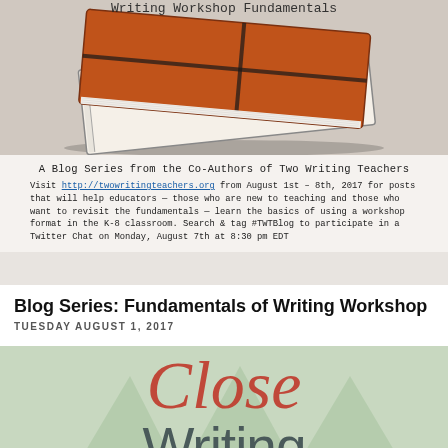[Figure (photo): Writing Workshop Fundamentals blog series image showing orange notebooks on gray background with text: 'A Blog Series from the Co-Authors of Two Writing Teachers'. Body text invites readers to visit twowritingteachers.org from August 1st-8th, 2017 for posts about workshop fundamentals in K-8 classroom, and mentions Twitter Chat on August 7th at 8:30 pm EDT with hashtag #TWTBlog.]
Blog Series: Fundamentals of Writing Workshop
TUESDAY AUGUST 1, 2017
[Figure (photo): Book cover for 'Close Writing: Developing Purposeful Writers in Grades 2-6' shown with large stylized text. 'Close' in red cursive-style font and 'Writing' in gray sans-serif font on a light green/beige background with geometric diamond shapes.]